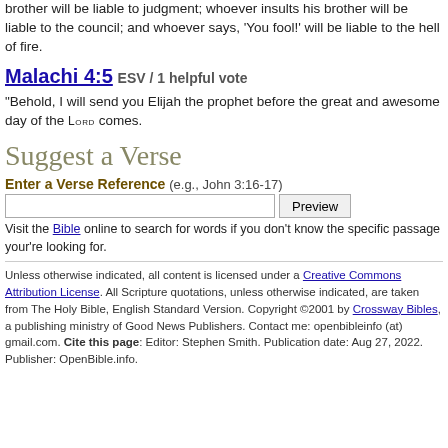brother will be liable to judgment; whoever insults his brother will be liable to the council; and whoever says, 'You fool!' will be liable to the hell of fire.
Malachi 4:5 ESV / 1 helpful vote
“Behold, I will send you Elijah the prophet before the great and awesome day of the LORD comes.
Suggest a Verse
Enter a Verse Reference (e.g., John 3:16-17)
Visit the Bible online to search for words if you don’t know the specific passage your’re looking for.
Unless otherwise indicated, all content is licensed under a Creative Commons Attribution License. All Scripture quotations, unless otherwise indicated, are taken from The Holy Bible, English Standard Version. Copyright ©2001 by Crossway Bibles, a publishing ministry of Good News Publishers. Contact me: openbibleinfo (at) gmail.com. Cite this page: Editor: Stephen Smith. Publication date: Aug 27, 2022. Publisher: OpenBible.info.